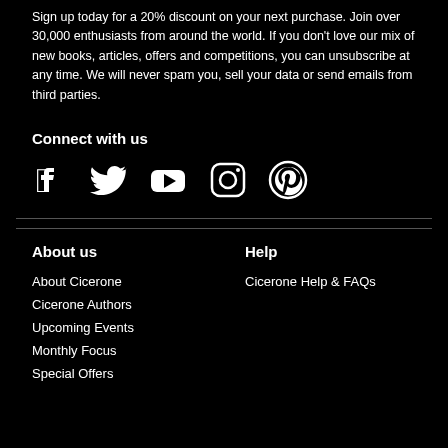Sign up today for a 20% discount on your next purchase. Join over 30,000 enthusiasts from around the world. If you don't love our mix of new books, articles, offers and competitions, you can unsubscribe at any time. We will never spam you, sell your data or send emails from third parties.
Connect with us
[Figure (illustration): Social media icons: Facebook, Twitter, YouTube, Instagram, Pinterest]
About us
Help
About Cicerone
Cicerone Authors
Upcoming Events
Monthly Focus
Special Offers
Cicerone Help & FAQs